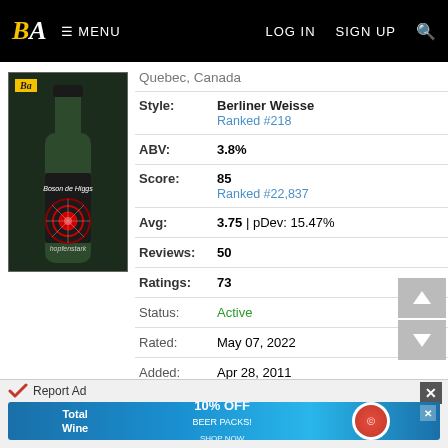BA MENU | LOG IN SIGN UP
[Figure (photo): Beer bottle labeled 'Boson de Higgs' by hopfenstark, dark green bottle with circular target/starburst design on label, small 'Ba' logo in top-left corner]
Quebec, Canada
| Style: | Berliner Weisse
Ranked #218 |
| ABV: | 3.8% |
| Score: | 85
Ranked #22,837 |
| Avg: | 3.75 | pDev: 15.47% |
| Reviews: | 50 |
| Ratings: | 73 |
| Status: | Active |
| Rated: | May 07, 2022 |
| Added: | Apr 28, 2011 |
| Wants: | ☐ 14 |
| Gots: | ☐ 7 |
Report Ad | Total Wine 10% OFF BEER PACKS!